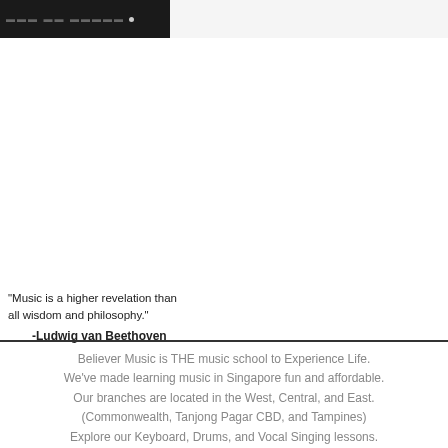[Figure (photo): Dark/black background banner image with faint text or logo, placed in the top-left corner of the page.]
"Music is a higher revelation than all wisdom and philosophy."
-Ludwig van Beethoven
Believer Music is THE music school to Experience Life. We've made learning music in Singapore fun and affordable. Our branches are located in the West, Central, and East. (Commonwealth, Tanjong Pagar CBD, and Tampines) Explore our Keyboard, Drums, and Vocal Singing lessons. Join our Electric Guitar, Cajon, Ukulele or Guitar classes. Music lessons are catered to both children and adults. Free music trial lessons and workshops provided. Discover an exciting new hobby in music. Simple and quick online registration.